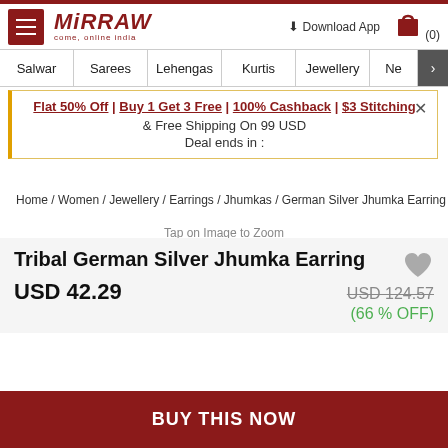Mirraw — Come, online India. Download App. Cart (0). Navigation: Salwar | Sarees | Lehengas | Kurtis | Jewellery | Ne >
Flat 50% Off | Buy 1 Get 3 Free | 100% Cashback | $3 Stitching & Free Shipping On 99 USD Deal ends in :
Home / Women / Jewellery / Earrings / Jhumkas / German Silver Jhumka Earring
Tap on Image to Zoom
Tribal German Silver Jhumka Earring
USD 42.29   USD 124.57  (66 % OFF)
BUY THIS NOW